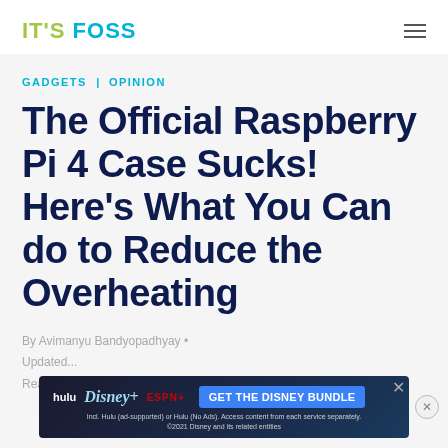IT'S FOSS
GADGETS | OPINION
The Official Raspberry Pi 4 Case Sucks! Here's What You Can do to Reduce the Overheating
By Avimanyu Bandyopadhyay •
Updated...
Reading...
[Figure (other): Advertisement banner for Disney Bundle featuring Hulu, Disney+, and ESPN+ logos with 'GET THE DISNEY BUNDLE' call to action button]